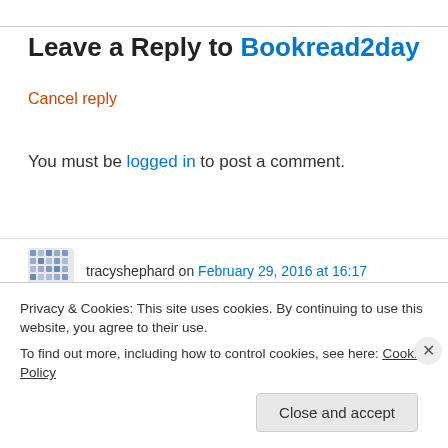Leave a Reply to Bookread2day
Cancel reply
You must be logged in to post a comment.
tracyshephard on February 29, 2016 at 16:17
beautiful blog x
Liked by 9 people
Privacy & Cookies: This site uses cookies. By continuing to use this website, you agree to their use. To find out more, including how to control cookies, see here: Cookie Policy
Close and accept